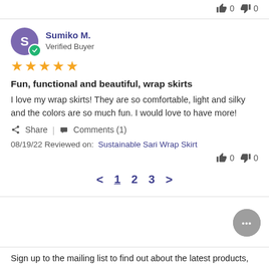👍 0 👎 0
Sumiko M.
Verified Buyer
★★★★★
Fun, functional and beautiful, wrap skirts
I love my wrap skirts! They are so comfortable, light and silky and the colors are so much fun. I would love to have more!
Share | Comments (1)
08/19/22 Reviewed on: Sustainable Sari Wrap Skirt
👍 0 👎 0
< 1 2 3 >
Sign up to the mailing list to find out about the latest products,